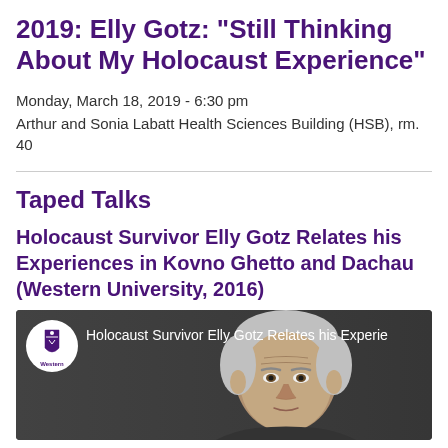2019: Elly Gotz: "Still Thinking About My Holocaust Experience"
Monday, March 18, 2019 - 6:30 pm
Arthur and Sonia Labatt Health Sciences Building (HSB), rm. 40
Taped Talks
Holocaust Survivor Elly Gotz Relates his Experiences in Kovno Ghetto and Dachau (Western University, 2016)
[Figure (screenshot): YouTube video thumbnail showing Holocaust Survivor Elly Gotz with Western University logo and video title overlay, elderly man with grey hair on dark background]